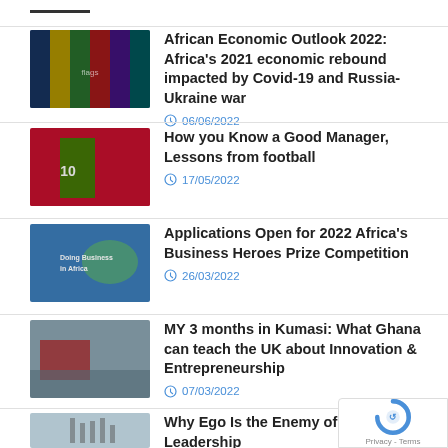[Figure (photo): Blue horizontal bar/navigation indicator at top]
[Figure (photo): African flags photograph thumbnail]
African Economic Outlook 2022: Africa's 2021 economic rebound impacted by Covid-19 and Russia-Ukraine war
06/06/2022
[Figure (photo): Football player with number 10 jersey thumbnail]
How you Know a Good Manager, Lessons from football
17/05/2022
[Figure (photo): Doing Business in Africa graphic thumbnail]
Applications Open for 2022 Africa's Business Heroes Prize Competition
26/03/2022
[Figure (photo): Kumasi street scene thumbnail]
MY 3 months in Kumasi: What Ghana can teach the UK about Innovation & Entrepreneurship
07/03/2022
[Figure (photo): Partial thumbnail - light blue/grey image]
Why Ego Is the Enemy of Good Leadership
[Figure (other): reCAPTCHA badge with Privacy and Terms links]